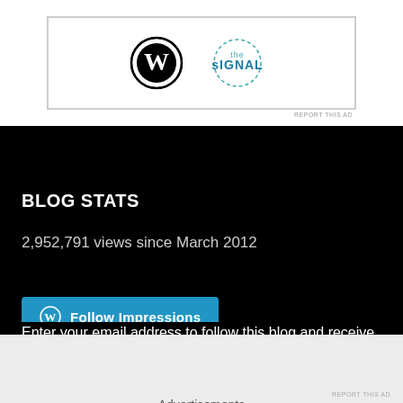[Figure (logo): WordPress logo and sIGNAL logo inside an ad banner]
BLOG STATS
2,952,791 views since March 2012
[Figure (other): Follow Impressions button (blue, with WordPress icon)]
Enter your email address to follow this blog and receive notifications of new posts by email.
Advertisements